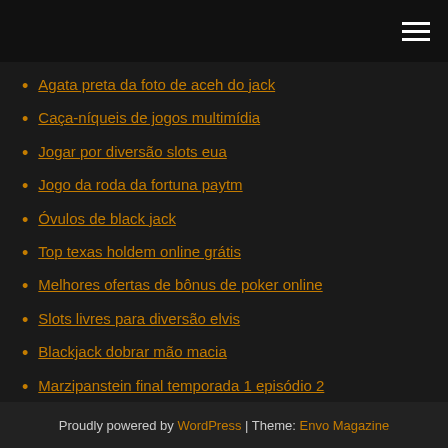Agata preta da foto de aceh do jack
Caça-níqueis de jogos multimídia
Jogar por diversão slots eua
Jogo da roda da fortuna paytm
Óvulos de black jack
Top texas holdem online grátis
Melhores ofertas de bônus de poker online
Slots livres para diversão elvis
Blackjack dobrar mão macia
Marzipanstein final temporada 1 episódio 2
Grande chance valor da máquina caça-níqueis
Proudly powered by WordPress | Theme: Envo Magazine